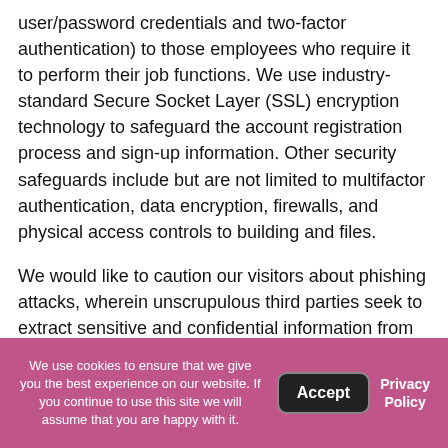user/password credentials and two-factor authentication) to those employees who require it to perform their job functions. We use industry-standard Secure Socket Layer (SSL) encryption technology to safeguard the account registration process and sign-up information. Other security safeguards include but are not limited to multifactor authentication, data encryption, firewalls, and physical access controls to building and files.
We would like to caution our visitors about phishing attacks, wherein unscrupulous third parties seek to extract sensitive and confidential information from you by posing as a genuine website or by sending an email misrepresenting it to be from a genuine source. Please be aware that we never seek sensitive or confidential information such as regarding your financial or health record through emails or through our websites. If you
We use cookies to ensure that we give you the best experience on our website. If you continue to use this site we will assume that you are happy with it.